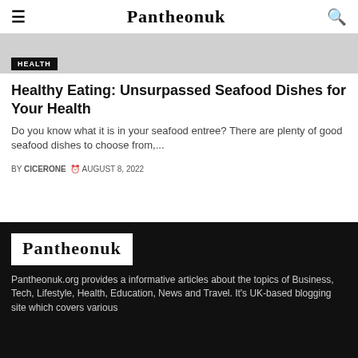Pantheonuk
[Figure (photo): Article header image with HEALTH badge overlay]
Healthy Eating: Unsurpassed Seafood Dishes for Your Health
Do you know what it is in your seafood entree? There are plenty of good seafood dishes to choose from,...
BY CICERONE  AUGUST 8, 2022
[Figure (logo): Pantheonuk logo in white box on black footer background]
Pantheonuk.org provides a informative articles about the topics of Business, Tech, Lifestyle, Health, Education, News and Travel. It's UK-based blogging site which covers various...